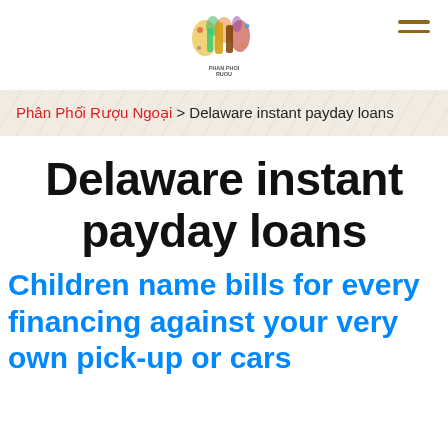[Figure (logo): Liquor distribution website logo with bottles and colorful splashes, text 'PHAN PHOI RUOU' below]
Phân Phối Rượu Ngoại > Delaware instant payday loans
Delaware instant payday loans
Children name bills for every financing against your very own pick-up or cars